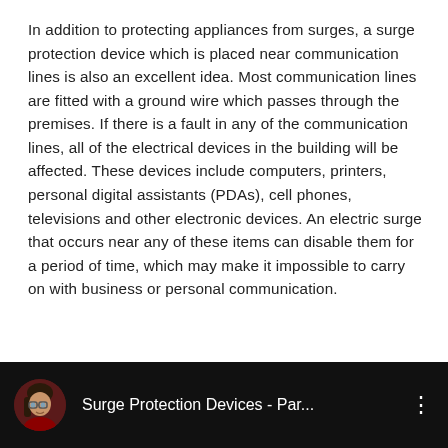In addition to protecting appliances from surges, a surge protection device which is placed near communication lines is also an excellent idea. Most communication lines are fitted with a ground wire which passes through the premises. If there is a fault in any of the communication lines, all of the electrical devices in the building will be affected. These devices include computers, printers, personal digital assistants (PDAs), cell phones, televisions and other electronic devices. An electric surge that occurs near any of these items can disable them for a period of time, which may make it impossible to carry on with business or personal communication.
[Figure (screenshot): YouTube video bar with dark background showing a thumbnail avatar of an animated character and the title 'Surge Protection Devices - Par...' with a three-dot menu icon on the right.]